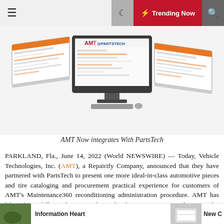≡   🌙   ⚡ Trending Now   🔍
[Figure (screenshot): Screenshot of a computer monitor displaying AMT and PartsTech logos, flanked by two angled screens showing parts catalog software interfaces]
AMT Now integrates With PartsTech
PARKLAND, Fla., June 14, 2022 (World NEWSWIRE) — Today, Vehicle Technologies, Inc. (AMT), a Repairify Company, announced that they have partnered with PartsTech to present one more ideal-in-class automotive pieces and tire cataloging and procurement practical experience for customers of AMT's Maintenance360 reconditioning administration procedure. AMT has labored carefully with PartsTech to develop an integration that provides Fix360 users entire visibility
Information Heart   New C